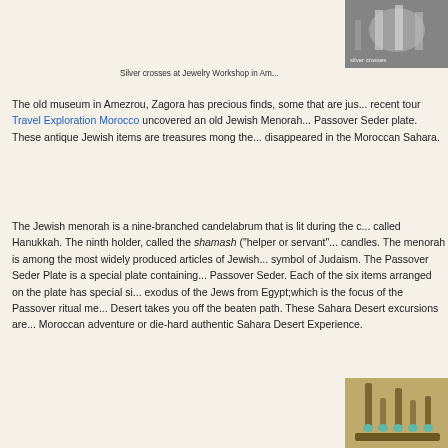[Figure (photo): Silver crosses at Jewelry Workshop in Amezrou, close-up grayscale photo]
Silver crosses at Jewelry Workshop in Am...
The old museum in Amezrou, Zagora has precious finds, some that are just... recent tour Travel Exploration Morocco uncovered an old Jewish Menorah... Passover Seder plate. These antique Jewish items are treasures mong the... disappeared in the Moroccan Sahara.
The Jewish menorah is a nine-branched candelabrum that is lit during the... called Hanukkah. The ninth holder, called the shamash ("helper or servant"... candles. The menorah is among the most widely produced articles of Jewish... symbol of Judaism. The Passover Seder Plate is a special plate containing... Passover Seder. Each of the six items arranged on the plate has special si... exodus of the Jews from Egypt;which is the focus of the Passover ritual me... Desert takes you off the beaten path. These Sahara Desert excursions are... Moroccan adventure or die-hard authentic Sahara Desert Experience.
[Figure (photo): Jewish menorah candelabrum with turquoise-tipped holders, brass/bronze material, close-up photo]